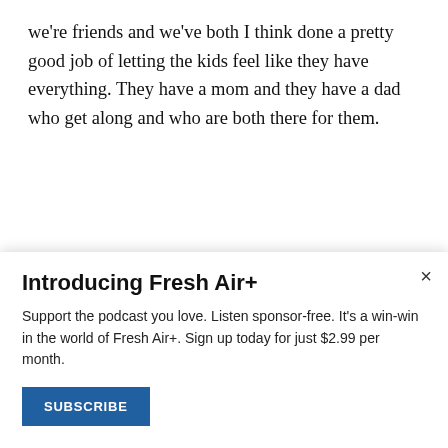we're friends and we've both I think done a pretty good job of letting the kids feel like they have everything. They have a mom and they have a dad who get along and who are both there for them.
[Figure (infographic): Social share icons: Facebook, Twitter, Flipboard, Email]
Introducing Fresh Air+
Support the podcast you love. Listen sponsor-free. It's a win-win in the world of Fresh Air+. Sign up today for just $2.99 per month.
SUBSCRIBE